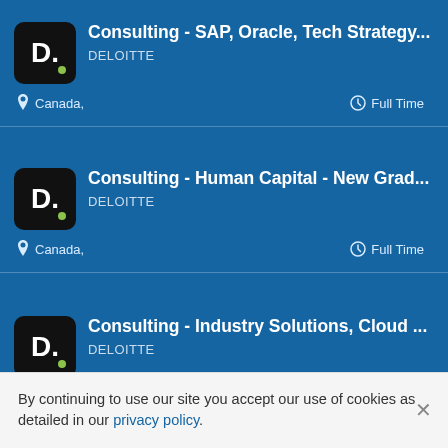Consulting - SAP, Oracle, Tech Strategy... | DELOITTE | Canada, | Full Time
Consulting - Human Capital - New Grad... | DELOITTE | Canada, | Full Time
Consulting - Industry Solutions, Cloud ... | DELOITTE | Canada, | Contract
Consultant or Senior Consultant - Quali...
By continuing to use our site you accept our use of cookies as detailed in our privacy policy.